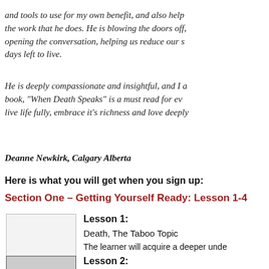and tools to use for my own benefit, and also help the work that he does. He is blowing the doors off, opening the conversation, helping us reduce our s... days left to live.
He is deeply compassionate and insightful, and I ... book, "When Death Speaks" is a must read for ev... live life fully, embrace it's richness and love deeply
Deanne Newkirk, Calgary Alberta
Here is what you will get when you sign up:
Section One – Getting Yourself Ready: Lesson 1-4
Lesson 1:
[Figure (photo): Lesson 1 image placeholder, light gray rectangle]
Death, The Taboo Topic
The learner will acquire a deeper unde...
Lesson 2:
[Figure (photo): Lesson 2 image placeholder, dark gray/striped rectangle]